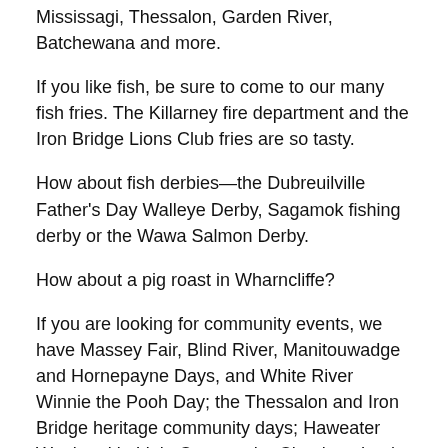Mississagi, Thessalon, Garden River, Batchewana and more.
If you like fish, be sure to come to our many fish fries. The Killarney fire department and the Iron Bridge Lions Club fries are so tasty.
How about fish derbies—the Dubreuilville Father's Day Walleye Derby, Sagamok fishing derby or the Wawa Salmon Derby.
How about a pig roast in Wharncliffe?
If you are looking for community events, we have Massey Fair, Blind River, Manitouwadge and Hornepayne Days, and White River Winnie the Pooh Day; the Thessalon and Iron Bridge heritage community days; Haweater Weekend in Little Current; the Chapleau Louis-Hémon celebration; the Providence Bay Fair; and the Tehkummah and Manitowaning plowing matches.
If you like muscle, then the Dubreuilville Strongman